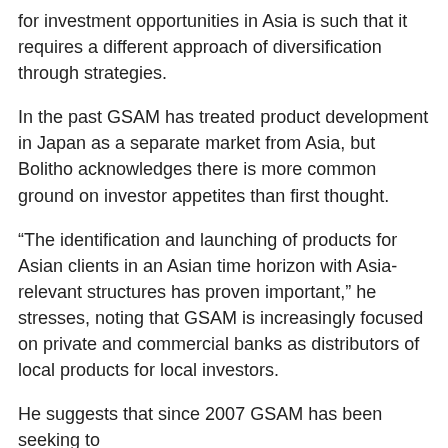for investment opportunities in Asia is such that it requires a different approach of diversification through strategies.
In the past GSAM has treated product development in Japan as a separate market from Asia, but Bolitho acknowledges there is more common ground on investor appetites than first thought.
“The identification and launching of products for Asian clients in an Asian time horizon with Asia-relevant structures has proven important,” he stresses, noting that GSAM is increasingly focused on private and commercial banks as distributors of local products for local investors.
He suggests that since 2007 GSAM has been seeking to